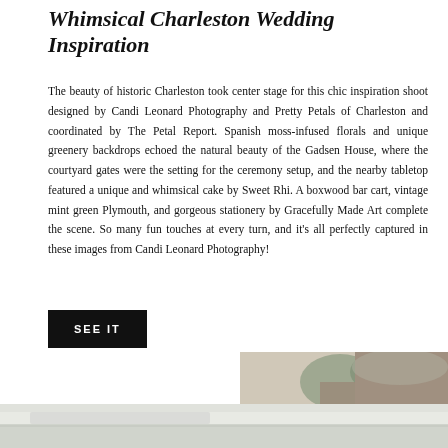Whimsical Charleston Wedding Inspiration
The beauty of historic Charleston took center stage for this chic inspiration shoot designed by Candi Leonard Photography and Pretty Petals of Charleston and coordinated by The Petal Report. Spanish moss-infused florals and unique greenery backdrops echoed the natural beauty of the Gadsen House, where the courtyard gates were the setting for the ceremony setup, and the nearby tabletop featured a unique and whimsical cake by Sweet Rhi. A boxwood bar cart, vintage mint green Plymouth, and gorgeous stationery by Gracefully Made Art complete the scene. So many fun touches at every turn, and it's all perfectly captured in these images from Candi Leonard Photography!
SEE IT
[Figure (photo): Wedding inspiration photo showing a woman in a gown near trees with greenery, photographed by Candi Leonard Photography]
[Figure (photo): Wedding inspiration landscape photo with light tones showing outdoor setting]